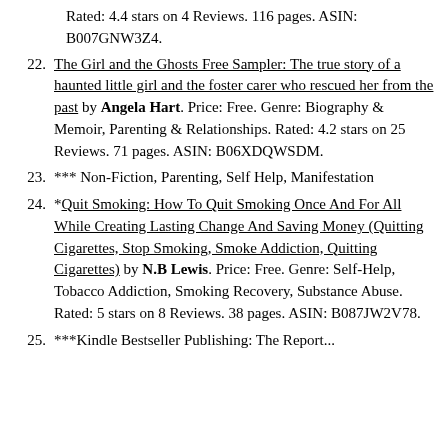Rated: 4.4 stars on 4 Reviews. 116 pages. ASIN: B007GNW3Z4.
22. The Girl and the Ghosts Free Sampler: The true story of a haunted little girl and the foster carer who rescued her from the past by Angela Hart. Price: Free. Genre: Biography & Memoir, Parenting & Relationships. Rated: 4.2 stars on 25 Reviews. 71 pages. ASIN: B06XDQWSDM.
23. *** Non-Fiction, Parenting, Self Help, Manifestation
24. *Quit Smoking: How To Quit Smoking Once And For All While Creating Lasting Change And Saving Money (Quitting Cigarettes, Stop Smoking, Smoke Addiction, Quitting Cigarettes) by N.B Lewis. Price: Free. Genre: Self-Help, Tobacco Addiction, Smoking Recovery, Substance Abuse. Rated: 5 stars on 8 Reviews. 38 pages. ASIN: B087JW2V78.
25. ***Kindle Bestseller Publishing: The Report...